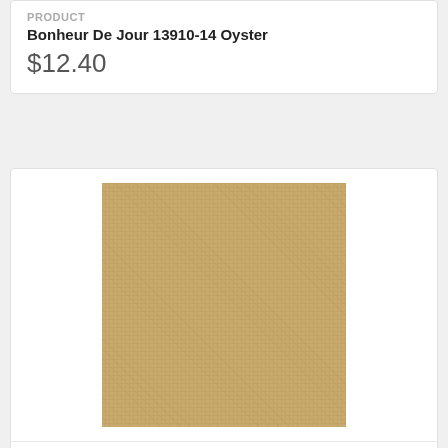PRODUCT
Bonheur De Jour 13910-14 Oyster
$12.40
[Figure (photo): Square fabric swatch showing a tan/golden-beige woven textile with a subtle linen-like texture]
PRODUCT
French General Solids 13529-53 Tea
$12.40